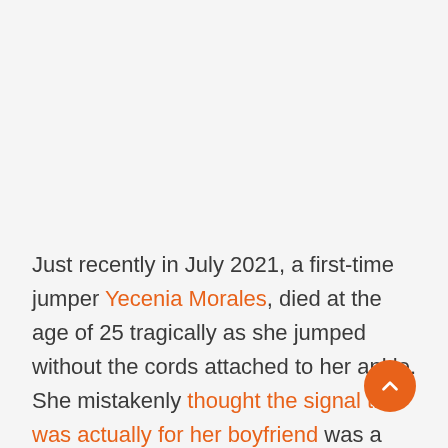Just recently in July 2021, a first-time jumper Yecenia Morales, died at the age of 25 tragically as she jumped without the cords attached to her ankle. She mistakenly thought the signal that was actually for her boyfriend was a signal for her to jump. It was said that she experienced a heart attack halfway to the fall when she